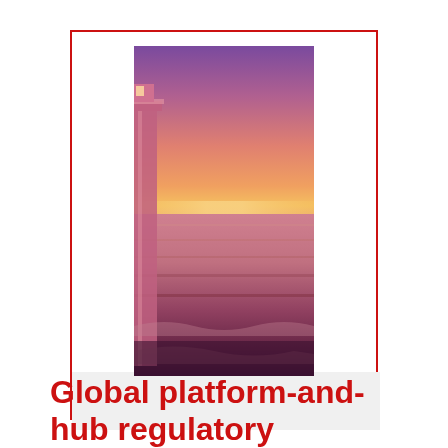[Figure (photo): A lighthouse at sunset beside the ocean. The sky is pink and purple, the sea reflects warm colors, and the lower portion shows dark waves. The lighthouse structure is visible on the left side.]
Global platform-and-hub regulatory